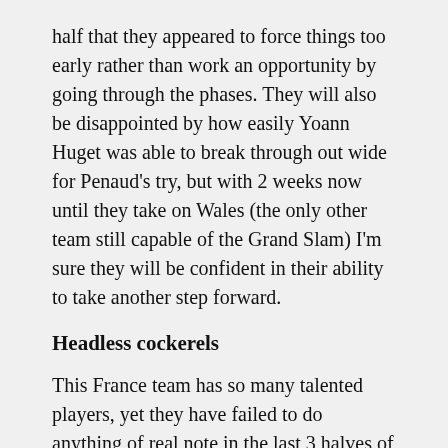half that they appeared to force things too early rather than work an opportunity by going through the phases. They will also be disappointed by how easily Yoann Huget was able to break through out wide for Penaud's try, but with 2 weeks now until they take on Wales (the only other team still capable of the Grand Slam) I'm sure they will be confident in their ability to take another step forward.
Headless cockerels
This France team has so many talented players, yet they have failed to do anything of real note in the last 3 halves of rugby now. If the second half capitulation against Wales (complete with the story that Sébastien Vahaamahina had been made captain following their substitutions) did not make